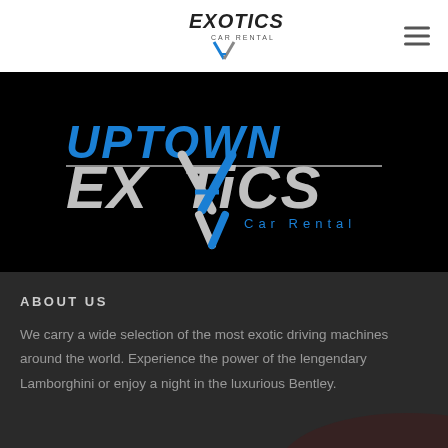EXOTICS CAR RENTAL (logo)
[Figure (logo): Uptown Exotics Car Rental logo on black background — large stylized text reading UPTOWN EXOTICS with a blue and silver X/arrow emblem, and 'Car Rental' subtitle]
ABOUT US
We carry a wide selection of the most exotic driving machines around the world. Experience the power of the lengendary Lamborghini or enjoy a night in the luxurious Bentley.